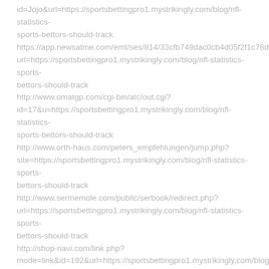id=Jojo&url=https://sportsbettingpro1.mystrikingly.com/blog/nfl-statistics-sports-bettors-should-track https://app.newsatme.com/emt/ses/814/33cfb749dac0cb4d05f2f1c78d348660url=https://sportsbettingpro1.mystrikingly.com/blog/nfl-statistics-sports-bettors-should-track http://www.omatgp.com/cgi-bin/atc/out.cgi?id=17&u=https://sportsbettingpro1.mystrikingly.com/blog/nfl-statistics-sports-bettors-should-track http://www.orth-haus.com/peters_empfehlungen/jump.php?site=https://sportsbettingpro1.mystrikingly.com/blog/nfl-statistics-sports-bettors-should-track http://www.sermemole.com/public/serbook/redirect.php?url=https://sportsbettingpro1.mystrikingly.com/blog/nfl-statistics-sports-bettors-should-track http://shop-navi.com/link.php?mode=link&id=192&url=https://sportsbettingpro1.mystrikingly.com/blog/nfl-statistics-sports-bettors-should-track http://www.superiorfemdom.com/cgi-bin/sites/out.cgi?id=dominell&url=https://sportsbettingpro1.mystrikingly.com/blog/nfl-statistics-sports-bettors-should-track https://flypoet.toptenticketing.com/index.php?url=https://sportsbettingpro1.mystrikingly.com/blog/nfl-statistics-sports-bettors-should-track http://whatsthecost.com/linktrack.aspx?url=https://sportsbettingpro1.mystrikingly.com/blog/nfl-statistics-sports-bettors-should-track